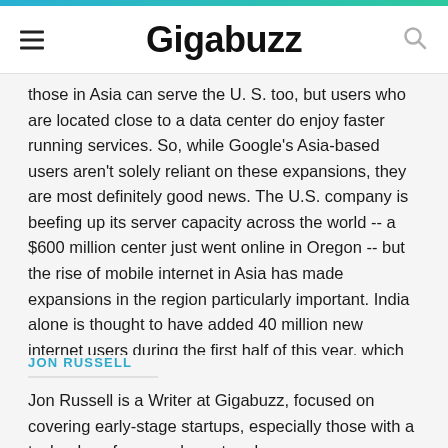Gigabuzz
those in Asia can serve the U. S. too, but users who are located close to a data center do enjoy faster running services. So, while Google's Asia-based users aren't solely reliant on these expansions, they are most definitely good news. The U.S. company is beefing up its server capacity across the world -- a $600 million center just went online in Oregon -- but the rise of mobile internet in Asia has made expansions in the region particularly important. India alone is thought to have added 40 million new internet users during the first half of this year, which gives an indication of the increased load that Google and other companies are dealing with.
JON RUSSELL
Jon Russell is a Writer at Gigabuzz, focused on covering early-stage startups, especially those with a technology focus and great perks.